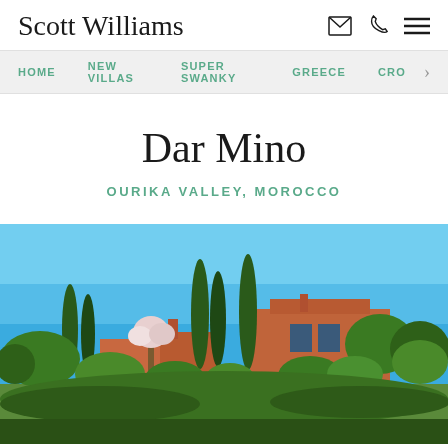Scott Williams
HOME   NEW VILLAS   SUPER SWANKY   GREECE   CRO >
Dar Mino
OURIKA VALLEY, MOROCCO
[Figure (photo): Exterior photograph of Dar Mino, a Moroccan villa with terracotta-colored walls and flat roof, surrounded by tall cypress trees, green leafy trees, and flowering trees under a bright clear blue sky.]